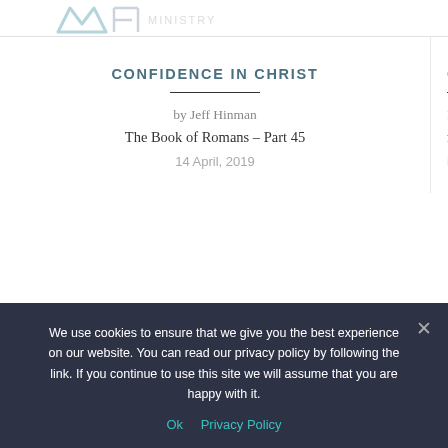[Figure (logo): Partial logo visible at top left, stylized letter/icon in teal/gray]
CONFIDENCE IN CHRIST
by Jeff Hinman
The Book of Romans – Part 45
14 April, 2019
We use cookies to ensure that we give you the best experience on our website. You can read our privacy policy by following the link. If you continue to use this site we will assume that you are happy with it.
Ok   Privacy Policy